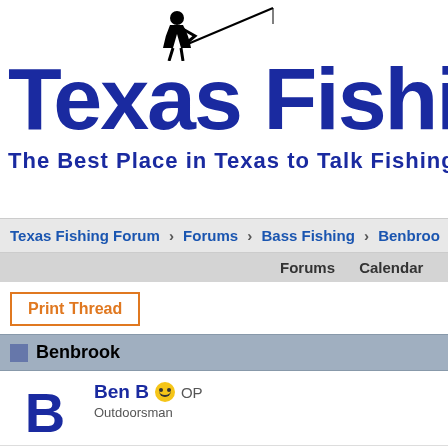[Figure (logo): Texas Fishing logo with silhouette of fisherman, large bold blue text 'Texas Fishing' and subtitle 'The Best Place in Texas to Talk Fishing']
Texas Fishing Forum > Forums > Bass Fishing > Benbroo
Forums   Calendar   Active Thread
Print Thread
Benbrook
Ben B  OP
Outdoorsman